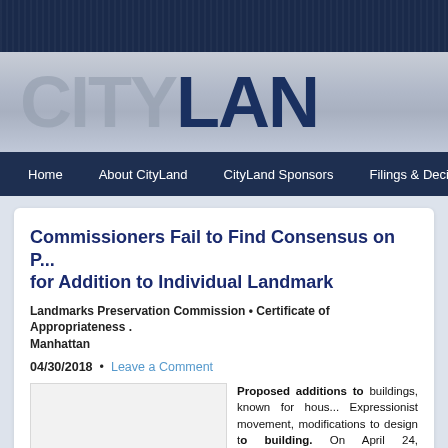CityLand
Commissioners Fail to Find Consensus on Proposal for Addition to Individual Landmark
Landmarks Preservation Commission • Certificate of Appropriateness • Manhattan
04/30/2018 • Leave a Comment
[Figure (photo): Photo of building (placeholder)]
Proposed additions to buildings, known for housing the Expressionist movement, required modifications to design to the building. On April 24, Preservation Commission...